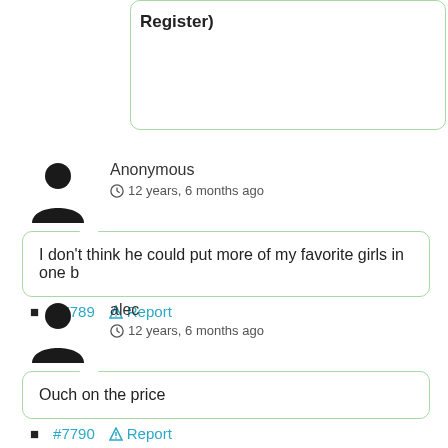Register)
Anonymous
12 years, 6 months ago
I don't think he could put more of my favorite girls in one b
#7789  Report
alec
12 years, 6 months ago
Ouch on the price
#7790  Report